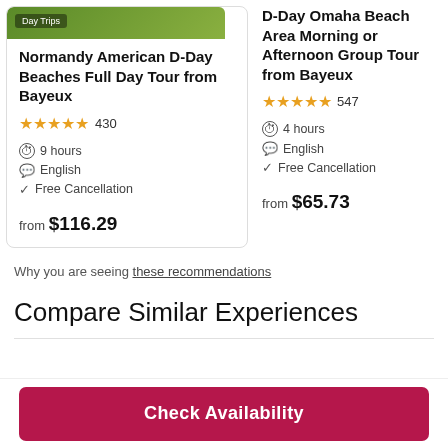[Figure (screenshot): Green landscape photo strip with 'Day Trips' badge at top of left card]
Normandy American D-Day Beaches Full Day Tour from Bayeux
★★★★★ 430
9 hours
English
Free Cancellation
from $116.29
D-Day Omaha Beach Area Morning or Afternoon Group Tour from Bayeux
★★★★★ 547
4 hours
English
Free Cancellation
from $65.73
Why you are seeing these recommendations
Compare Similar Experiences
Check Availability